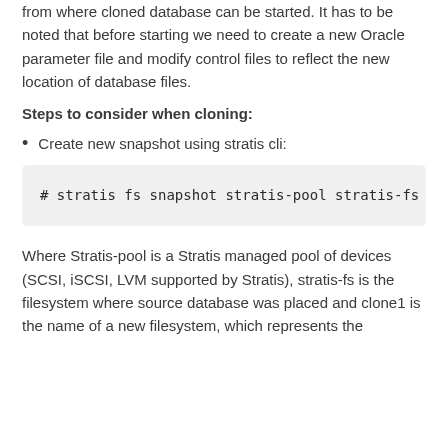from where cloned database can be started. It has to be noted that before starting we need to create a new Oracle parameter file and modify control files to reflect the new location of database files.
Steps to consider when cloning:
Create new snapshot using stratis cli:
# stratis fs snapshot stratis-pool stratis-fs
Where Stratis-pool is a Stratis managed pool of devices (SCSI, iSCSI, LVM supported by Stratis), stratis-fs is the filesystem where source database was placed and clone1 is the name of a new filesystem, which represents the